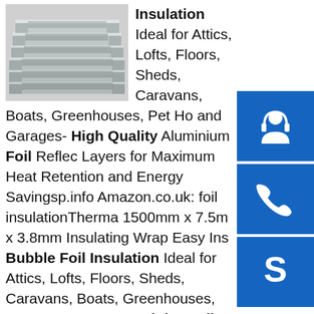[Figure (photo): Stack of aluminium channel sections / C-sections metal profiles, silver colored, industrial product photo]
Insulation Ideal for Attics, Lofts, Floors, Sheds, Caravans, Boats, Greenhouses, Pet Homes and Garages- High Quality Aluminium Foil Reflective Layers for Maximum Heat Retention and Energy Savingsp.info Amazon.co.uk: foil insulationThermal 1500mm x 7.5m x 3.8mm Insulating Wrap Easy Ins Bubble Foil Insulation Ideal for Attics, Lofts, Floors, Sheds, Caravans, Boats, Greenhouses, Pet Homes and Garages- High Quality Aluminium Foil Reflective Layers for Maximum Heat Retention and Energy SavingSome results are removed in response to a notice of local law requirement. For more information, please see here.sp.infoMophorn 40 in X 65 Ft Reflective Insulation Roll ...Mophorn 40 in X 65 Ft Reflective Insulation Roll Reflective Foil Green Energy Reflectix Insulation Roll for Heat Sound and Noise Isolation ... 40 In X 65 Ft Double Bubble Thermal Barrier Reflective Foil Insulation ... Not